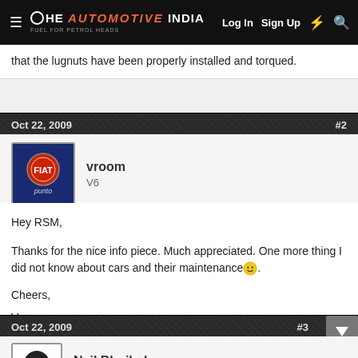The Automotive India | Log In  Sign Up
that the lugnuts have been properly installed and torqued.
Oct 22, 2009  #2
vroom
V6
Hey RSM,

Thanks for the nice info piece. Much appreciated. One more thing I did not know about cars and their maintenance 🙂.

Cheers,
Vroom
Oct 22, 2009  #3
Neil.Bhujbal
Suspended